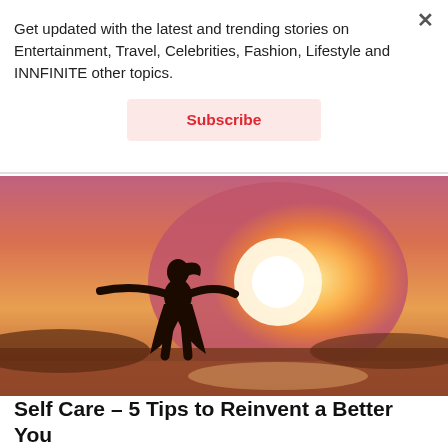Get updated with the latest and trending stories on Entertainment, Travel, Celebrities, Fashion, Lifestyle and INNFINITE other topics.
Subscribe
[Figure (photo): Silhouette of a woman with arms spread wide against a golden sunset sky over water]
Self Care – 5 Tips to Reinvent a Better You
Dikhsita Bhattacharyya
In the neverending hassles of daily life to fulfil our goals, we often